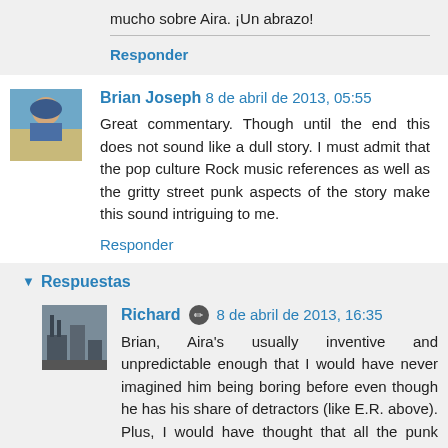mucho sobre Aira. ¡Un abrazo!
Responder
Brian Joseph 8 de abril de 2013, 05:55
Great commentary. Though until the end this does not sound like a dull story. I must admit that the pop culture Rock music references as well as the gritty street punk aspects of the story make this sound intriguing to me.
Responder
▾ Respuestas
Richard 8 de abril de 2013, 16:35
Brian, Aira's usually inventive and unpredictable enough that I would have never imagined him being boring before even though he has his share of detractors (like E.R. above). Plus, I would have thought that all the punk references